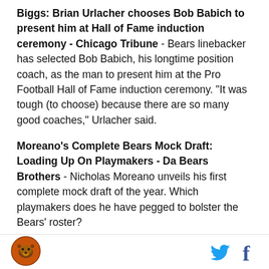Biggs: Brian Urlacher chooses Bob Babich to present him at Hall of Fame induction ceremony - Chicago Tribune - Bears linebacker has selected Bob Babich, his longtime position coach, as the man to present him at the Pro Football Hall of Fame induction ceremony. "It was tough (to choose) because there are so many good coaches," Urlacher said.
Moreano’s Complete Bears Mock Draft: Loading Up On Playmakers - Da Bears Brothers - Nicholas Moreano unveils his first complete mock draft of the year. Which playmakers does he have pegged to bolster the Bears’ roster?
LeGere: Chicago Bears LB Urlacher tabs Babich as